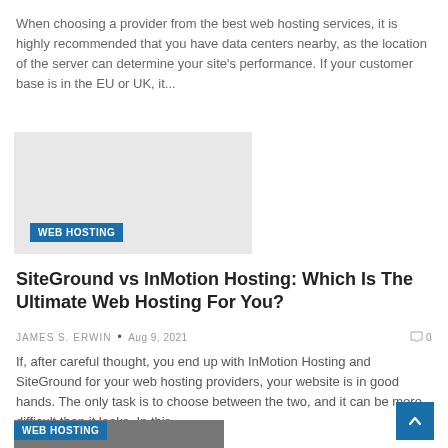When choosing a provider from the best web hosting services, it is highly recommended that you have data centers nearby, as the location of the server can determine your site's performance. If your customer base is in the EU or UK, it...
[Figure (other): WEB HOSTING badge over a gray placeholder image block]
SiteGround vs InMotion Hosting: Which Is The Ultimate Web Hosting For You?
JAMES S. ERWIN  •  Aug 9, 2021    0
If, after careful thought, you end up with InMotion Hosting and SiteGround for your web hosting providers, your website is in good hands. The only task is to choose between the two, and it can be more difficult than it looks. In this...
[Figure (other): WEB HOSTING badge over a partial photo image block at bottom]